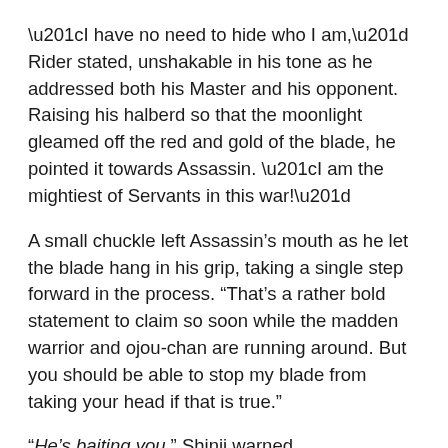“I have no need to hide who I am,” Rider stated, unshakable in his tone as he addressed both his Master and his opponent. Raising his halberd so that the moonlight gleamed off the red and gold of the blade, he pointed it towards Assassin. “I am the mightiest of Servants in this war!”
A small chuckle left Assassin’s mouth as he let the blade hang in his grip, taking a single step forward in the process. “That’s a rather bold statement to claim so soon while the madden warrior and ojou-chan are running around. But you should be able to stop my blade from taking your head if that is true.”
“He’s baiting you,” Shinji warned.
Rider didn’t care. The ground beneath him cracked as he